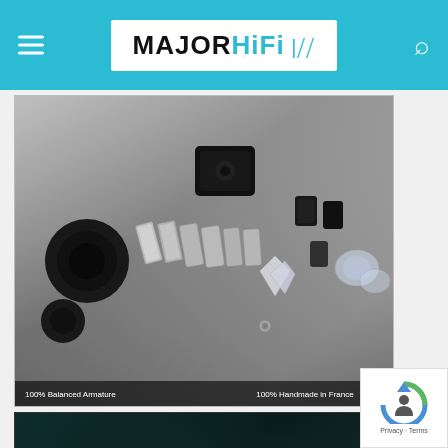MAJOR HiFi
[Figure (photo): Exploded view of in-ear monitor components in black and white/silver tones, showing balanced armature drivers, shells, faceplates and tips. Caption reads '100% Balanced Armature' on left and '100% Handmade in France' on right.]
[Figure (photo): Advertisement image with dark teal/black background showing 'UPGRACE NEW GENERATION' text with two Beyerdynamic headphones labeled T1 (OPEN) and T5 (CLOSED), decorated with floral elements.]